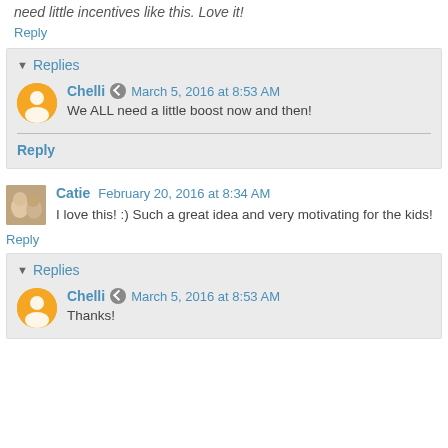need little incentives like this. Love it!
Reply
Replies
Chelli · March 5, 2016 at 8:53 AM
We ALL need a little boost now and then!
Reply
Catie  February 20, 2016 at 8:34 AM
I love this! :) Such a great idea and very motivating for the kids!
Reply
Replies
Chelli · March 5, 2016 at 8:53 AM
Thanks!